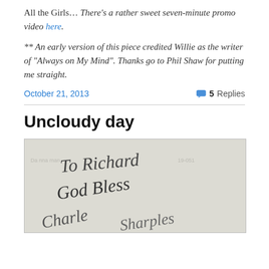All the Girls… There's a rather sweet seven-minute promo video here.
** An early version of this piece credited Willie as the writer of "Always on My Mind". Thanks go to Phil Shaw for putting me straight.
October 21, 2013    5 Replies
Uncloudy day
[Figure (photo): Handwritten inscription reading 'To Richard God Bless [signature]' on what appears to be a signed document or album, with faint printed text in the background.]